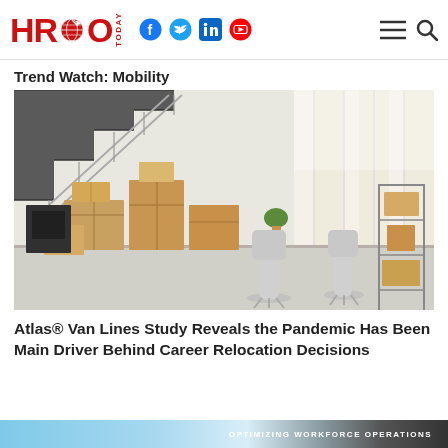HRO Today — navigation bar with social icons (Facebook, Twitter, LinkedIn, YouTube), hamburger menu, and search
Trend Watch: Mobility
[Figure (photo): Office interior with cardboard moving boxes stacked on a polished floor beneath a modern open staircase with metal railings. Two office chairs on wheels and a metal shelving unit are visible among the boxes. A small green plant sits on one box. Bright natural light streams through large windows in the background.]
Atlas® Van Lines Study Reveals the Pandemic Has Been Main Driver Behind Career Relocation Decisions
OPTIMIZING WORKFORCE OPERATIONS